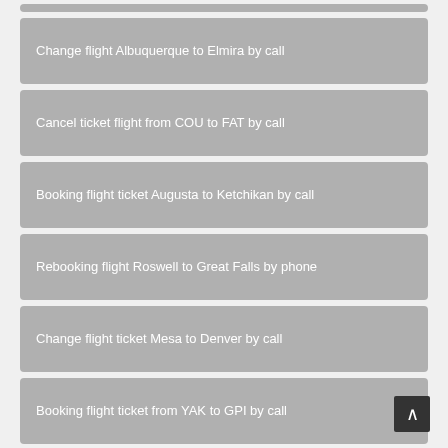Change flight Albuquerque to Elmira by call
Cancel ticket flight from COU to FAT by call
Booking flight ticket Augusta to Ketchikan by call
Rebooking flight Roswell to Great Falls by phone
Change flight ticket Mesa to Denver by call
Booking flight ticket from YAK to GPI by call
Rebooking flight La Crosse to Lexington by call